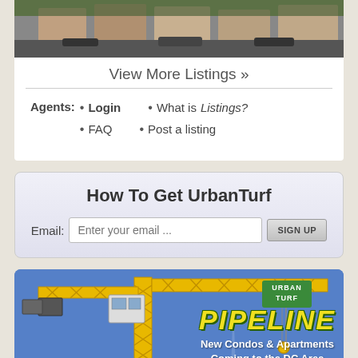[Figure (photo): Exterior photo of urban row houses/townhomes with cars parked in front]
View More Listings »
Agents: • Login • What is Listings? • FAQ • Post a listing
How To Get UrbanTurf
Email: Enter your email ... SIGN UP
[Figure (illustration): UrbanTurf Pipeline banner with construction crane, showing 'PIPELINE - New Condos & Apartments Coming to the DC Area']